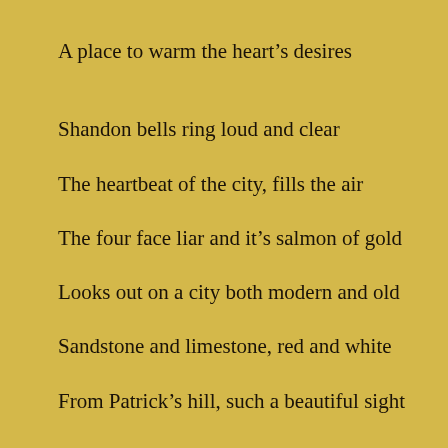A place to warm the heart’s desires
Shandon bells ring loud and clear
The heartbeat of the city, fills the air
The four face liar and it’s salmon of gold
Looks out on a city both modern and old
Sandstone and limestone, red and white
From Patrick’s hill, such a beautiful sight